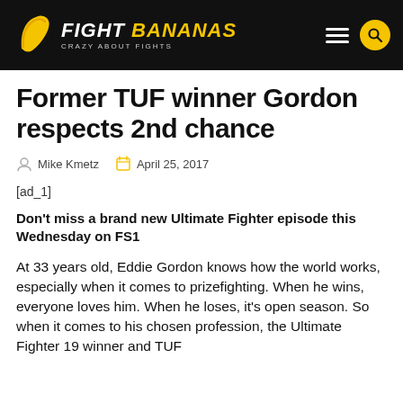FIGHT BANANAS — CRAZY ABOUT FIGHTS
Former TUF winner Gordon respects 2nd chance
Mike Kmetz   April 25, 2017
[ad_1]
Don't miss a brand new Ultimate Fighter episode this Wednesday on FS1
At 33 years old, Eddie Gordon knows how the world works, especially when it comes to prizefighting. When he wins, everyone loves him. When he loses, it's open season. So when it comes to his chosen profession, the Ultimate Fighter 19 winner and TUF